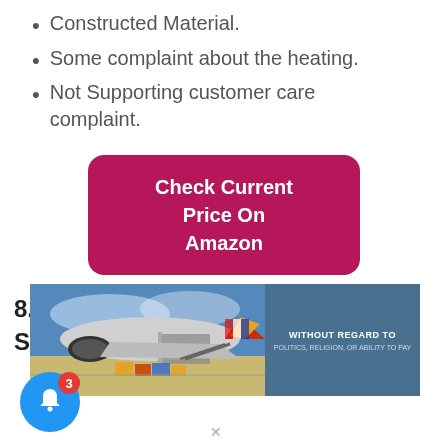Constructed Material.
Some complaint about the heating.
Not Supporting customer care complaint.
Check Current Price On Amazon
8. LANDMANN MCO – Landmann Smoky Mountain
[Figure (photo): Advertisement banner showing a cargo plane being loaded on a tarmac with text 'WITHOUT REGARD TO POLITICS, RELIGION, OR ABILITY TO PAY']